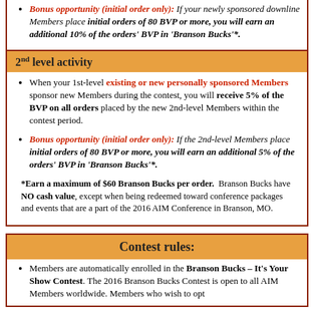Bonus opportunity (initial order only): If your newly sponsored downline Members place initial orders of 80 BVP or more, you will earn an additional 10% of the orders' BVP in 'Branson Bucks'*.
2nd level activity
When your 1st-level existing or new personally sponsored Members sponsor new Members during the contest, you will receive 5% of the BVP on all orders placed by the new 2nd-level Members within the contest period.
Bonus opportunity (initial order only): If the 2nd-level Members place initial orders of 80 BVP or more, you will earn an additional 5% of the orders' BVP in 'Branson Bucks'*.
*Earn a maximum of $60 Branson Bucks per order. Branson Bucks have NO cash value, except when being redeemed toward conference packages and events that are a part of the 2016 AIM Conference in Branson, MO.
Contest rules:
Members are automatically enrolled in the Branson Bucks – It's Your Show Contest. The 2016 Branson Bucks Contest is open to all AIM Members worldwide. Members who wish to opt